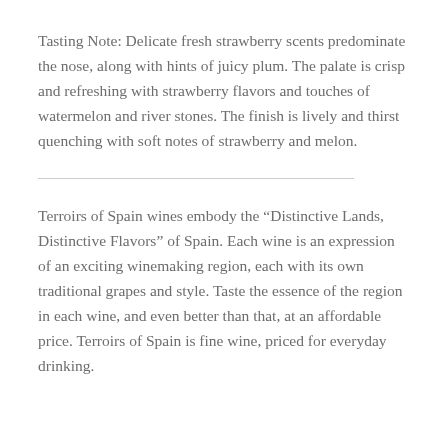Tasting Note: Delicate fresh strawberry scents predominate the nose, along with hints of juicy plum. The palate is crisp and refreshing with strawberry flavors and touches of watermelon and river stones. The finish is lively and thirst quenching with soft notes of strawberry and melon.
Terroirs of Spain wines embody the “Distinctive Lands, Distinctive Flavors” of Spain. Each wine is an expression of an exciting winemaking region, each with its own traditional grapes and style. Taste the essence of the region in each wine, and even better than that, at an affordable price. Terroirs of Spain is fine wine, priced for everyday drinking.